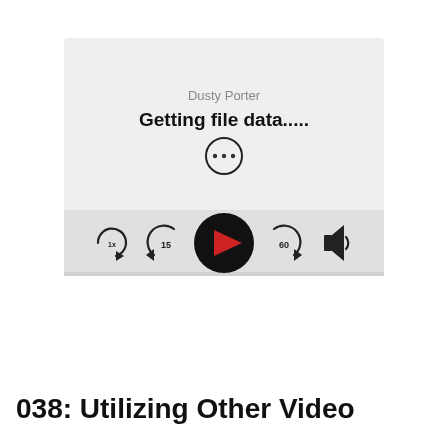[Figure (screenshot): A podcast or media player interface screenshot showing 'Dusty Porter' as author, 'Getting file data.....' as status with a loading/more-options icon (three dots in a circle), and playback controls: 1x speed button, rewind 15s, play button (red triangle on black circle), forward 60s, and volume icon.]
038: Utilizing Other Video